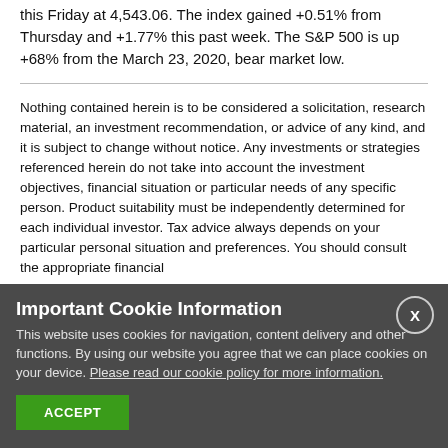this Friday at 4,543.06. The index gained +0.51% from Thursday and +1.77% this past week. The S&P 500 is up +68% from the March 23, 2020, bear market low.
Nothing contained herein is to be considered a solicitation, research material, an investment recommendation, or advice of any kind, and it is subject to change without notice. Any investments or strategies referenced herein do not take into account the investment objectives, financial situation or particular needs of any specific person. Product suitability must be independently determined for each individual investor. Tax advice always depends on your particular personal situation and preferences. You should consult the appropriate financial
Important Cookie Information
This website uses cookies for navigation, content delivery and other functions. By using our website you agree that we can place cookies on your device. Please read our cookie policy for more information.